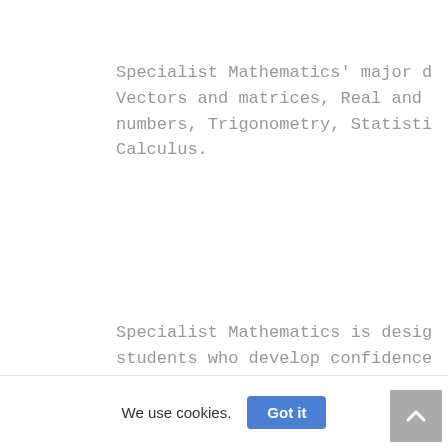Specialist Mathematics' major d
Vectors and matrices, Real and
numbers, Trigonometry, Statisti
Calculus.
Specialist Mathematics is desig
students who develop confidence
mathematical knowledge and abil
gain a positive view of themsel
mathematics learners. They will
appreciation of the true nature
mathematics, its beauty and its
Students learn topics that are
systematically, with increasing
We use cookies.
Got it